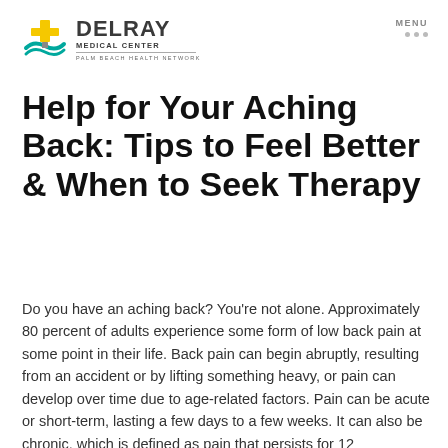DELRAY MEDICAL CENTER | PALM BEACH HEALTH NETWORK
Help for Your Aching Back: Tips to Feel Better & When to Seek Therapy
Do you have an aching back? You're not alone. Approximately 80 percent of adults experience some form of low back pain at some point in their life. Back pain can begin abruptly, resulting from an accident or by lifting something heavy, or pain can develop over time due to age-related factors. Pain can be acute or short-term, lasting a few days to a few weeks. It can also be chronic, which is defined as pain that persists for 12